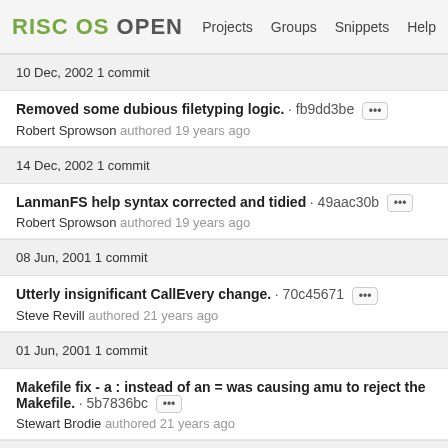RISC OS OPEN | Projects | Groups | Snippets | Help
10 Dec, 2002 1 commit
Removed some dubious filetyping logic. · fb9dd3be
Robert Sprowson authored 19 years ago
14 Dec, 2002 1 commit
LanmanFS help syntax corrected and tidied · 49aac30b
Robert Sprowson authored 19 years ago
08 Jun, 2001 1 commit
Utterly insignificant CallEvery change. · 70c45671
Steve Revill authored 21 years ago
01 Jun, 2001 1 commit
Makefile fix - a : instead of an = was causing amu to reject the Makefile. · 5b7836bc
Stewart Brodie authored 21 years ago
02 Apr, 2001 1 commit